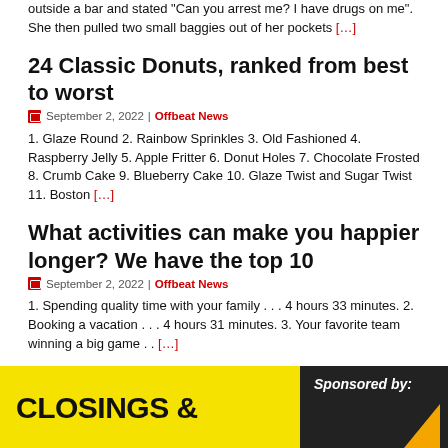outside a bar and stated "Can you arrest me? I have drugs on me". She then pulled two small baggies out of her pockets [...]
24 Classic Donuts, ranked from best to worst
September 2, 2022 | Offbeat News
1. Glaze Round 2. Rainbow Sprinkles 3. Old Fashioned 4. Raspberry Jelly 5. Apple Fritter 6. Donut Holes 7. Chocolate Frosted 8. Crumb Cake 9. Blueberry Cake 10. Glaze Twist and Sugar Twist 11. Boston [...]
What activities can make you happier longer? We have the top 10
September 2, 2022 | Offbeat News
1. Spending quality time with your family . . . 4 hours 33 minutes. 2. Booking a vacation . . . 4 hours 31 minutes. 3. Your favorite team winning a big game . . [...]
[Figure (other): Bottom banner with yellow section showing 'CLOSINGS &' text and dark right section with 'Sponsored by:' text and orange triangle graphic]